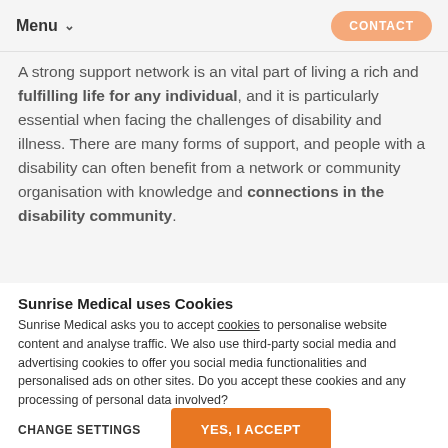Menu   CONTACT
A strong support network is an vital part of living a rich and fulfilling life for any individual, and it is particularly essential when facing the challenges of disability and illness. There are many forms of support, and people with a disability can often benefit from a network or community organisation with knowledge and connections in the disability community.
Sunrise Medical uses Cookies
Sunrise Medical asks you to accept cookies to personalise website content and analyse traffic. We also use third-party social media and advertising cookies to offer you social media functionalities and personalised ads on other sites. Do you accept these cookies and any processing of personal data involved?
CHANGE SETTINGS   YES, I ACCEPT